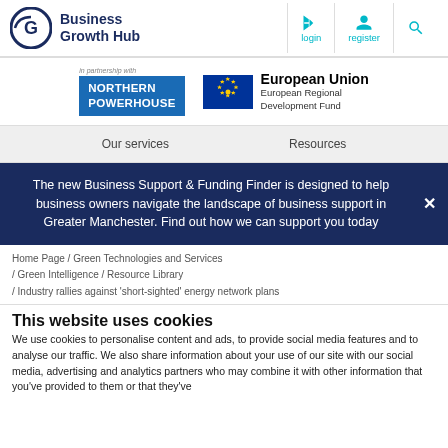Business Growth Hub — login, register, search
[Figure (logo): Business Growth Hub logo with stylized G icon and text 'Business Growth Hub']
[Figure (logo): Northern Powerhouse logo (blue box with white text) and European Union European Regional Development Fund logo]
Our services   Resources
The new Business Support & Funding Finder is designed to help business owners navigate the landscape of business support in Greater Manchester. Find out how we can support you today
Home Page / Green Technologies and Services / Green Intelligence / Resource Library / Industry rallies against 'short-sighted' energy network plans
This website uses cookies
We use cookies to personalise content and ads, to provide social media features and to analyse our traffic. We also share information about your use of our site with our social media, advertising and analytics partners who may combine it with other information that you've provided to them or that they've